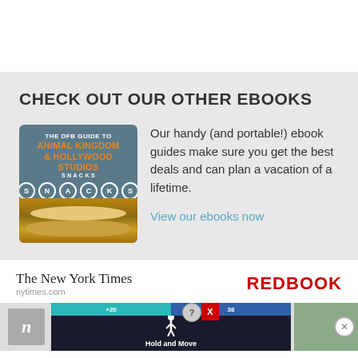CHECK OUT OUR OTHER EBOOKS
[Figure (illustration): Book cover: The DFB Guide to Animal Kingdom & Hollywood Studios Snacks, with cookies/sandwich image]
Our handy (and portable!) ebook guides make sure you get the best deals and can plan a vacation of a lifetime.
View our ebooks now
[Figure (logo): The New York Times logo with nytimes.com URL and REDBOOK logo]
[Figure (screenshot): Advertisement banner strip with Hold and Move ad, n logo, and close buttons]